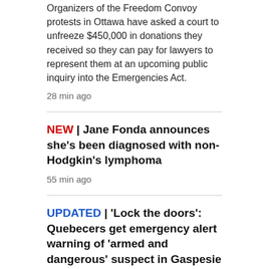Organizers of the Freedom Convoy protests in Ottawa have asked a court to unfreeze $450,000 in donations they received so they can pay for lawyers to represent them at an upcoming public inquiry into the Emergencies Act.
28 min ago
NEW | Jane Fonda announces she's been diagnosed with non-Hodgkin's lymphoma
55 min ago
UPDATED | 'Lock the doors': Quebecers get emergency alert warning of 'armed and dangerous' suspect in Gaspesie
10 min ago
NEW | Southwest Airlines passenger AirDrops nude photo to other fliers
9 min ago